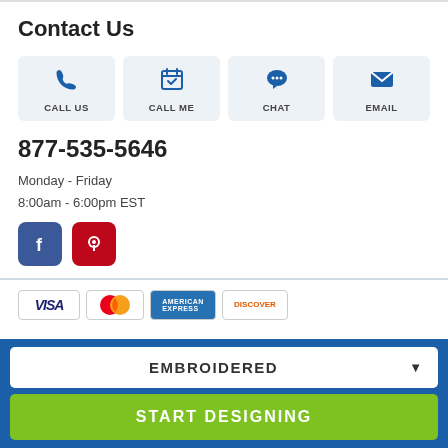Contact Us
[Figure (infographic): Four contact buttons: CALL US (phone icon), CALL ME (calendar icon), CHAT (speech bubble icon), EMAIL (envelope icon)]
877-535-5646
Monday - Friday
8:00am - 6:00pm EST
[Figure (logo): Facebook and Pinterest social media icons]
[Figure (other): Payment method cards: VISA, Mastercard, American Express, Discover]
EMBROIDERED
START DESIGNING